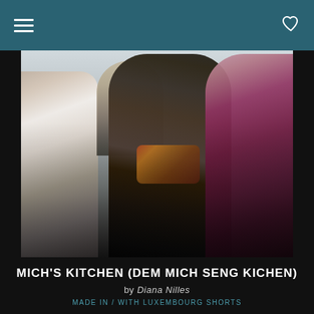[Figure (photo): Film still showing a bearded man with long dark hair wearing a leather jacket and colorful scarf, standing in a confrontational stance between two other people — a woman on the left in a white top and a person in a dark red/maroon jacket on the right, in a white room]
MICH'S KITCHEN (DEM MICH SENG KICHEN)
by Diana Nilles
MADE IN / WITH LUXEMBOURG SHORTS